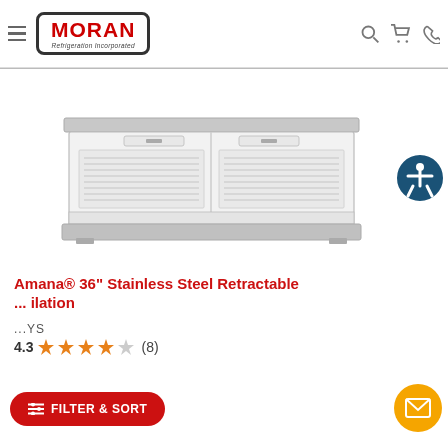MORAN Refrigeration Incorporated
[Figure (photo): Amana 36-inch stainless steel retractable downdraft ventilation unit — white with stainless steel top panel, two louvered sections with handles, viewed from front at slight angle]
Amana® 36" Stainless Steel Retractable ... ilation
...YS
4.3 (8)